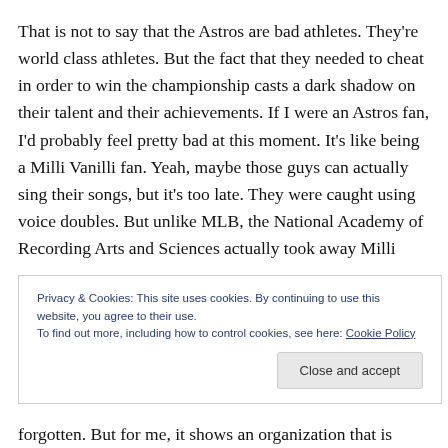That is not to say that the Astros are bad athletes. They're world class athletes. But the fact that they needed to cheat in order to win the championship casts a dark shadow on their talent and their achievements. If I were an Astros fan, I'd probably feel pretty bad at this moment. It's like being a Milli Vanilli fan. Yeah, maybe those guys can actually sing their songs, but it's too late. They were caught using voice doubles. But unlike MLB, the National Academy of Recording Arts and Sciences actually took away Milli
Privacy & Cookies: This site uses cookies. By continuing to use this website, you agree to their use.
To find out more, including how to control cookies, see here: Cookie Policy
forgotten. But for me, it shows an organization that is